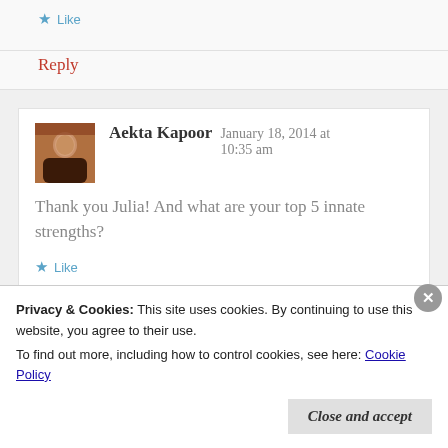★ Like
Reply
Aekta Kapoor  January 18, 2014 at 10:35 am
Thank you Julia! And what are your top 5 innate strengths?
★ Like
Privacy & Cookies: This site uses cookies. By continuing to use this website, you agree to their use.
To find out more, including how to control cookies, see here: Cookie Policy
Close and accept